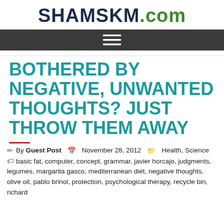SHAMSKM.com
BOTHERED BY NEGATIVE, UNWANTED THOUGHTS? JUST THROW THEM AWAY
By Guest Post  November 28, 2012  Health, Science
basic fat, computer, concept, grammar, javier horcajo, judgments, legumes, margarita gasco, mediterranean diet, negative thoughts, olive oil, pablo brinol, protection, psychological therapy, recycle bin, richard